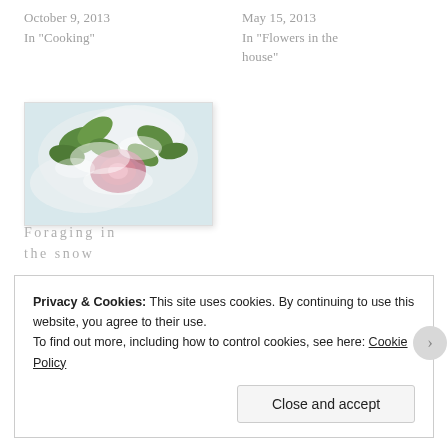October 9, 2013
In "Cooking"
May 15, 2013
In "Flowers in the house"
[Figure (photo): Snow-covered plants with green leaves and pink flowers, viewed from above with blurred winter background]
Foraging in the snow
December 9, 2013
In "Cooking"
Privacy & Cookies: This site uses cookies. By continuing to use this website, you agree to their use.
To find out more, including how to control cookies, see here: Cookie Policy
Close and accept